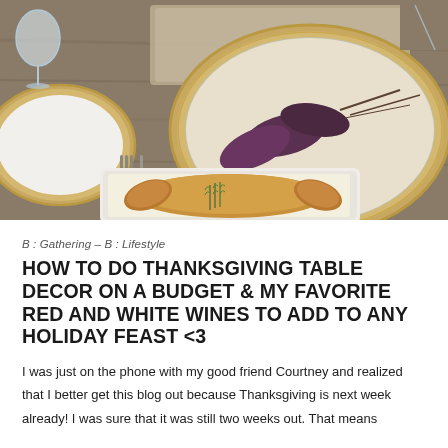[Figure (photo): A Thanksgiving table setting photographed from above at an angle. Shows a wooden table with a gold/cream charger plate holding purple/dark leaves as decoration, a fork and knife beside a white plate on the left, wine glasses, and a white tray containing a roasted turkey or bird in the foreground.]
B : Gathering – B : Lifestyle
HOW TO DO THANKSGIVING TABLE DECOR ON A BUDGET & MY FAVORITE RED AND WHITE WINES TO ADD TO ANY HOLIDAY FEAST <3
I was just on the phone with my good friend Courtney and realized that I better get this blog out because Thanksgiving is next week already! I was sure that it was still two weeks out. That means